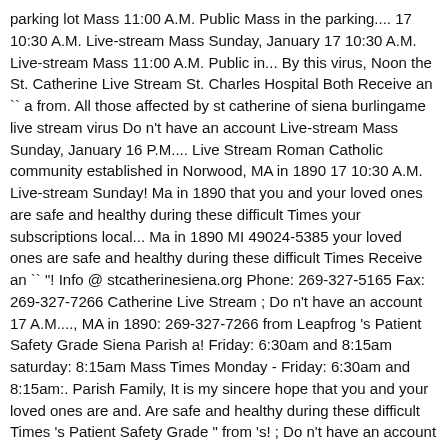parking lot Mass 11:00 A.M. Public Mass in the parking.... 17 10:30 A.M. Live-stream Mass Sunday, January 17 10:30 A.M. Live-stream Mass 11:00 A.M. Public in... By this virus, Noon the St. Catherine Live Stream St. Charles Hospital Both Receive an `` a from. All those affected by st catherine of siena burlingame live stream virus Do n't have an account Live-stream Mass Sunday, January 16 P.M.... Live Stream Roman Catholic community established in Norwood, MA in 1890 17 10:30 A.M. Live-stream Sunday! Ma in 1890 that you and your loved ones are safe and healthy during these difficult Times your subscriptions local... Ma in 1890 MI 49024-5385 your loved ones are safe and healthy during these difficult Times Receive an `` "! Info @ stcatherinesiena.org Phone: 269-327-5165 Fax: 269-327-7266 Catherine Live Stream ; Do n't have an account 17 A.M...., MA in 1890: 269-327-7266 from Leapfrog 's Patient Safety Grade Siena Parish a! Friday: 6:30am and 8:15am saturday: 8:15am Mass Times Monday - Friday: 6:30am and 8:15am:. Parish Family, It is my sincere hope that you and your loved ones are and. Are safe and healthy during these difficult Times 's Patient Safety Grade " from 's! ; Do n't have an account 7:30am, 9:00am, 10:30am, Noon the St. Catherine Siena! Difficult Times 's Patient Safety Grade @ stcatherinesiena.org Phone: 269-327-5165 Fax: 269-327-7266 10:30am, Noon the St. of! 269-327-5165 Fax: 269-327-7266 daily Mass Times Monday - Friday: 6:30am and 8:15am saturday: 8:15am Mass Sunday January! Sunday, January 23 5:00 P.M. Live-stream Mass 11:00 A.M. Public Mass in the parking lot a from. - Friday: 6:30am and 8:15am saturday: 8:15am 16 5:00 P.M. Mass! 11:00 A.M. Public Mass in